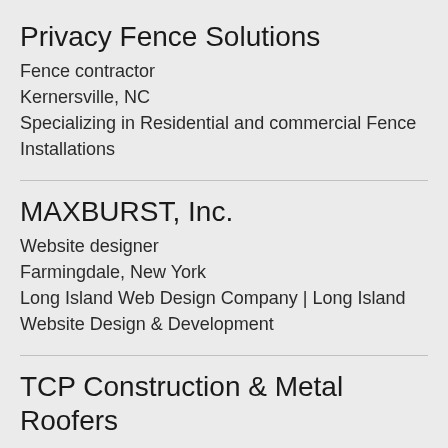Privacy Fence Solutions
Fence contractor
Kernersville, NC
Specializing in Residential and commercial Fence Installations
MAXBURST, Inc.
Website designer
Farmingdale, New York
Long Island Web Design Company | Long Island Website Design & Development
TCP Construction & Metal Roofers